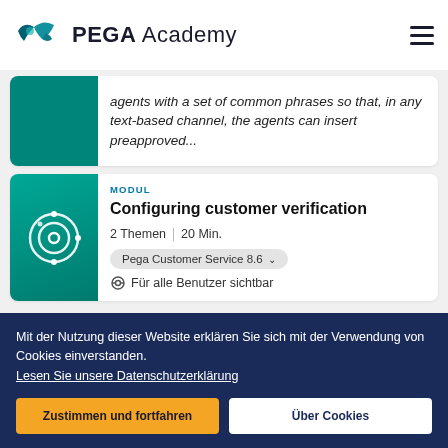PEGA Academy
agents with a set of common phrases so that, in any text-based channel, the agents can insert preapproved...
MODUL
Configuring customer verification
2 Themen | 20 Min.
Pega Customer Service 8.6
Für alle Benutzer sichtbar
Mit der Nutzung dieser Website erklären Sie sich mit der Verwendung von Cookies einverstanden. Lesen Sie unsere Datenschutzerklärung
Zustimmen und fortfahren
Über Cookies